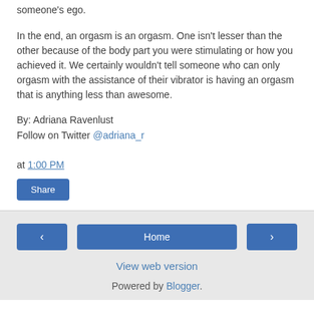someone's ego.
In the end, an orgasm is an orgasm. One isn't lesser than the other because of the body part you were stimulating or how you achieved it. We certainly wouldn't tell someone who can only orgasm with the assistance of their vibrator is having an orgasm that is anything less than awesome.
By: Adriana Ravenlust
Follow on Twitter @adriana_r
at 1:00 PM
Share
< Home > View web version Powered by Blogger.